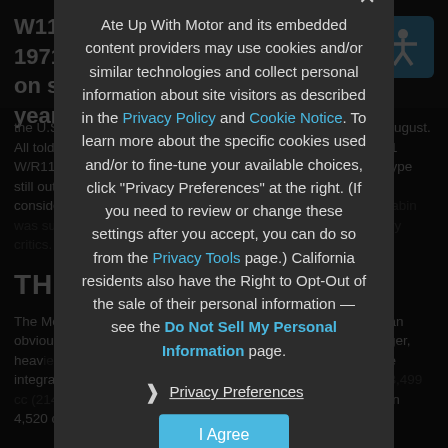W113 production ended in March 1971, although the 280 remained on sale for the rest of the model year — mainly
the U.S., where the new R107 350SL was not introduced until August. All told, Mercedes made a total of 48,912 units, including 19,831 W/R113 350SLs and 23,885 350SLs. The American-market E-type still outsold the Mercedes by about 3:1, which some observers considered proof of different market preferences. The W113's cabin was surprisingly well-featured, and was praised by contemporary critics.
THE R107 EXPANSION
The Mercedes R107, which bowed in 1971 as the 350SL, was an obvious and logical extension of the W113's basic concept: bigger, heavier, and more modern inside and out, with new features like integral air conditioning. A V8 engine was now standard — the 3,499 cc (214 cu. in.) M116 for non-U.S. markets, the low-compression 4,520 cc (276 cu.
Ate Up With Motor and its embedded content providers may use cookies and/or similar technologies and collect personal information about site visitors as described in the Privacy Policy and Cookie Notice. To learn more about the specific cookies used and/or to fine-tune your available choices, click "Privacy Preferences" at the right. (If you need to review or change these settings after you accept, you can do so from the Privacy Tools page.) California residents also have the Right to Opt-Out of the sale of their personal information — see the Do Not Sell My Personal Information page.
Privacy Preferences
I Agree